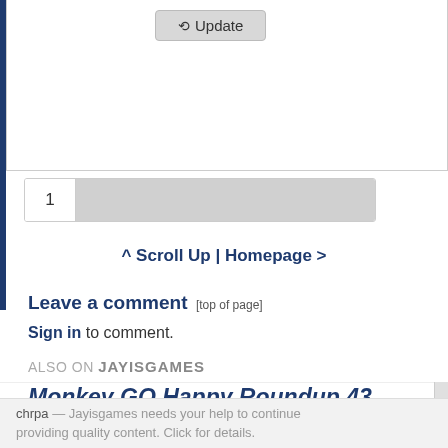[Figure (screenshot): UI element showing an Update button with refresh icon]
[Figure (screenshot): Pagination row with number 1 and grey input field]
^ Scroll Up | Homepage >
Leave a comment [top of page]
Sign in to comment.
ALSO ON JAYISGAMES
Monkey GO Happy Roundup 43
3,568  0  May 13
chrpa — Jayisgames needs your help to continue providing quality content. Click for details.